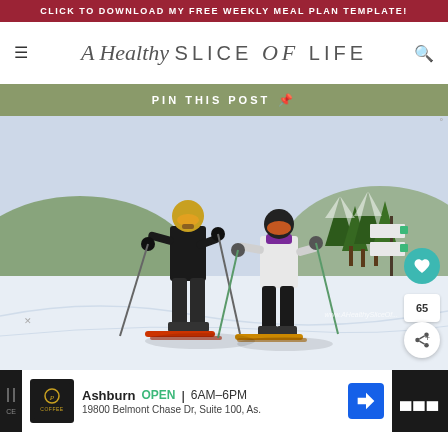CLICK TO DOWNLOAD MY FREE WEEKLY MEAL PLAN TEMPLATE!
A Healthy Slice of Life
PIN THIS POST
[Figure (photo): Two skiers in full gear standing on a snowy ski slope with trees and ski trail signs in the background. One skier wears a gold helmet with goggles and black jacket, the other wears a black helmet with orange goggles and a white/silver jacket with purple neck gaiter. Both holding ski poles.]
www.AHealthySliceOf...
Ashburn  OPEN | 6AM–6PM
19800 Belmont Chase Dr, Suite 100, As.